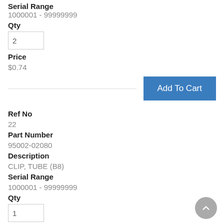Serial Range
1000001 - 99999999
Qty
2
Price
$0.74
[Figure (other): Add To Cart button]
Ref No
22
Part Number
95002-02080
Description
CLIP, TUBE (B8)
Serial Range
1000001 - 99999999
Qty
1
Price